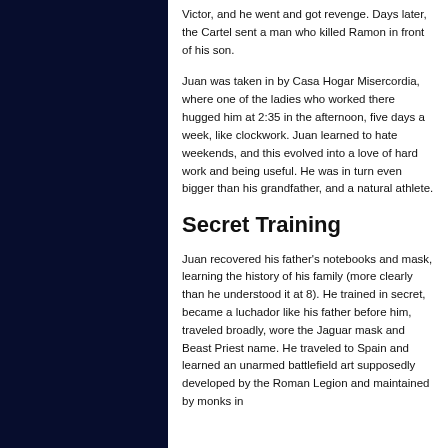Victor, and he went and got revenge. Days later, the Cartel sent a man who killed Ramon in front of his son.
Juan was taken in by Casa Hogar Misercordia, where one of the ladies who worked there hugged him at 2:35 in the afternoon, five days a week, like clockwork. Juan learned to hate weekends, and this evolved into a love of hard work and being useful. He was in turn even bigger than his grandfather, and a natural athlete.
Secret Training
Juan recovered his father’s notebooks and mask, learning the history of his family (more clearly than he understood it at 8). He trained in secret, became a luchador like his father before him, traveled broadly, wore the Jaguar mask and Beast Priest name. He traveled to Spain and learned an unarmed battlefield art supposedly developed by the Roman Legion and maintained by monks in